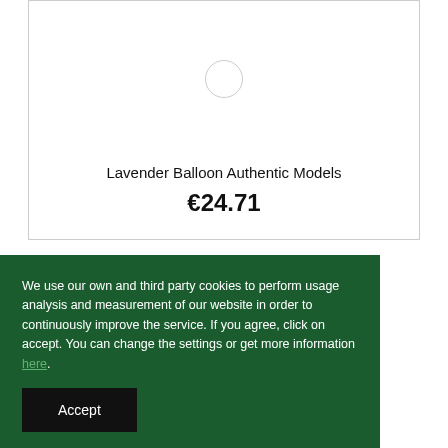[Figure (photo): Product card with a small circle/loading icon placeholder for a product image]
Lavender Balloon Authentic Models
€24.71
We use our own and third party cookies to perform usage analysis and measurement of our website in order to continuously improve the service. If you agree, click on accept. You can change the settings or get more information here.
Accept